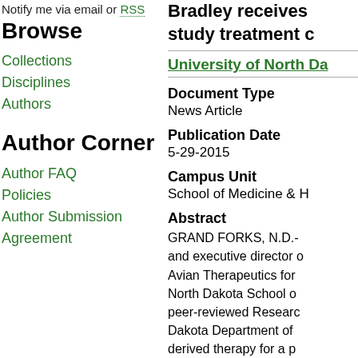Notify me via email or RSS
Browse
Collections
Disciplines
Authors
Author Corner
Author FAQ
Policies
Author Submission Agreement
Bradley receives study treatment c...
University of North Da...
Document Type
News Article
Publication Date
5-29-2015
Campus Unit
School of Medicine & H...
Abstract
GRAND FORKS, N.D.- and executive director o... Avian Therapeutics for... North Dakota School o... peer-reviewed Researc... Dakota Department of ... derived therapy for a p... effectively combat outb... matching the Researc...